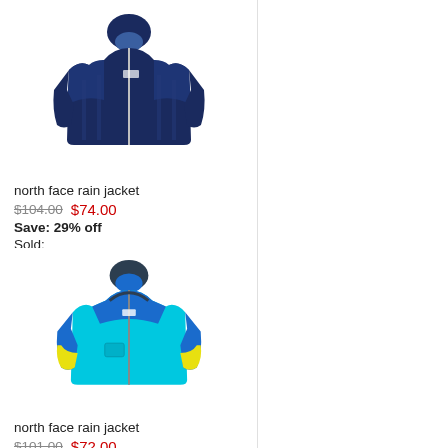[Figure (photo): North Face navy blue rain jacket for kids/boys, dark blue with pattern]
north face rain jacket
$104.00  $74.00
Save: 29% off
Sold:
★★★★☆ (966)  ♥like
[Figure (photo): North Face cyan/blue rain jacket with yellow accents and hood]
north face rain jacket
$101.00  $72.00
Save: 29% off
Sold:
★★★★☆ (889)  ♥like